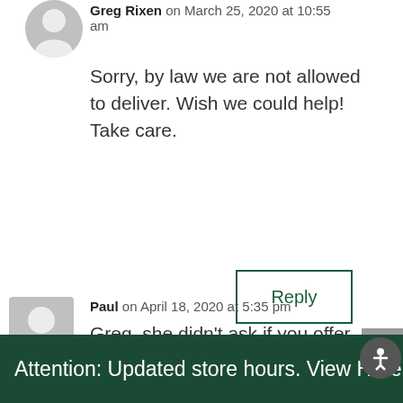Greg Rixen on March 25, 2020 at 10:55 am
Sorry, by law we are not allowed to deliver. Wish we could help! Take care.
Reply
Paul on April 18, 2020 at 5:35 pm
Greg, she didn’t ask if you offer delivery. She asked if she could order online and go to the store to
Attention: Updated store hours. View Here